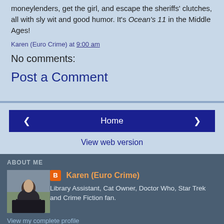moneylenders, get the girl, and escape the sheriffs' clutches, all with sly wit and good humor. It's Ocean's 11 in the Middle Ages!
Karen (Euro Crime) at 9:00 am
No comments:
Post a Comment
[Figure (other): Navigation buttons: left arrow, Home button, right arrow, and View web version link]
ABOUT ME
[Figure (photo): Profile photo of Karen (Euro Crime) - person outdoors with hills/landscape in background]
Karen (Euro Crime) - Library Assistant, Cat Owner, Doctor Who, Star Trek and Crime Fiction fan.
View my complete profile
Powered by Blogger.